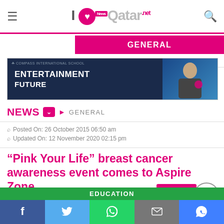ILoveQatar.net
GENERAL
[Figure (other): Advertisement banner for Compass International School showing dark blue background with 'ENTERTAINMENT FUTURE' text and person image]
NEWS > GENERAL
Posted On: 26 October 2015 06:50 am
Updated On: 12 November 2020 02:15 pm
“Pink Your Life” breast cancer awareness event comes to Aspire Zone
EDUCATION
f  Twitter  WhatsApp  Mail  Messenger